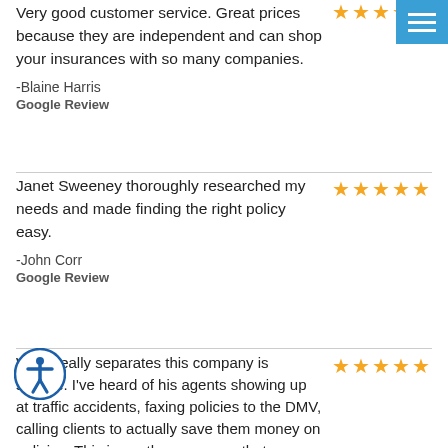[Figure (other): Blue menu/hamburger icon button in top right corner]
Very good customer service. Great prices because they are independent and can shop your insurances with so many companies.
-Blaine Harris
Google Review
Janet Sweeney thoroughly researched my needs and made finding the right policy easy.
-John Corr
Google Review
What really separates this company is service. I've heard of his agents showing up at traffic accidents, faxing policies to the DMV, calling clients to actually save them money on policies. This is another company that believes in earning your business every day,
[Figure (other): Accessibility icon (person in circle) in bottom left]